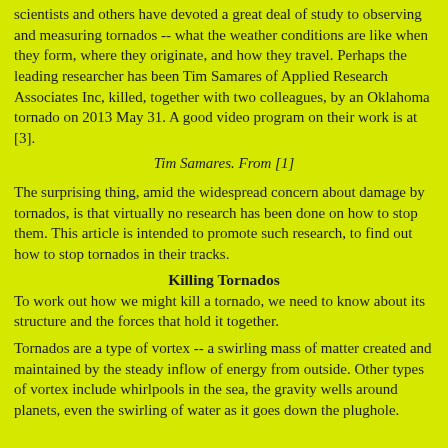scientists and others have devoted a great deal of study to observing and measuring tornados -- what the weather conditions are like when they form, where they originate, and how they travel. Perhaps the leading researcher has been Tim Samares of Applied Research Associates Inc, killed, together with two colleagues, by an Oklahoma tornado on 2013 May 31. A good video program on their work is at [3].
Tim Samares. From [1]
The surprising thing, amid the widespread concern about damage by tornados, is that virtually no research has been done on how to stop them. This article is intended to promote such research, to find out how to stop tornados in their tracks.
Killing Tornados
To work out how we might kill a tornado, we need to know about its structure and the forces that hold it together.
Tornados are a type of vortex -- a swirling mass of matter created and maintained by the steady inflow of energy from outside. Other types of vortex include whirlpools in the sea, the gravity wells around planets, even the swirling of water as it goes down the plughole.